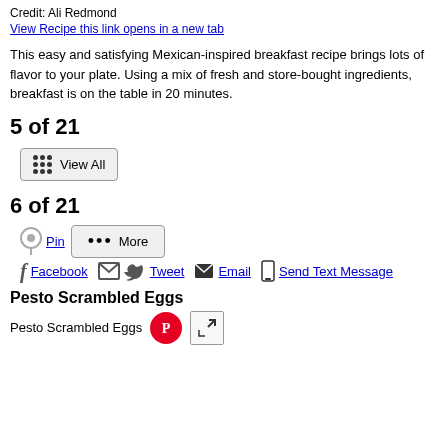Credit: Ali Redmond
View Recipe this link opens in a new tab
This easy and satisfying Mexican-inspired breakfast recipe brings lots of flavor to your plate. Using a mix of fresh and store-bought ingredients, breakfast is on the table in 20 minutes.
5 of 21
[Figure (other): View All button with grid dots icon]
6 of 21
[Figure (other): Social sharing buttons: Pin, More, Facebook, Tweet, Email, Send Text Message]
Pesto Scrambled Eggs
Pesto Scrambled Eggs